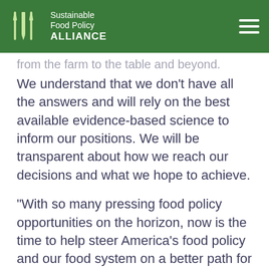Sustainable Food Policy ALLIANCE
from the farm to the table and beyond. We understand that we don't have all the answers and will rely on the best available evidence-based science to inform our positions. We will be transparent about how we reach our decisions and what we hope to achieve.
“With so many pressing food policy opportunities on the horizon, now is the time to help steer America’s food policy and our food system on a better path for long-term success.”
###